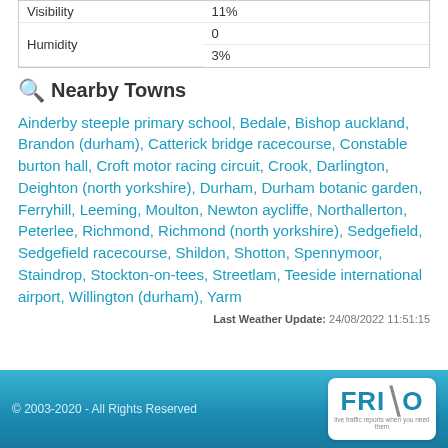| Visibility | 11% |
| Humidity | 0 |
|  | 3% |
Nearby Towns
Ainderby steeple primary school, Bedale, Bishop auckland, Brandon (durham), Catterick bridge racecourse, Constable burton hall, Croft motor racing circuit, Crook, Darlington, Deighton (north yorkshire), Durham, Durham botanic garden, Ferryhill, Leeming, Moulton, Newton aycliffe, Northallerton, Peterlee, Richmond, Richmond (north yorkshire), Sedgefield, Sedgefield racecourse, Shildon, Shotton, Spennymoor, Staindrop, Stockton-on-tees, Streetlam, Teeside international airport, Willington (durham), Yarm
Last Weather Update: 24/08/2022 11:51:15
© 2003-2020 - All Rights Reserved